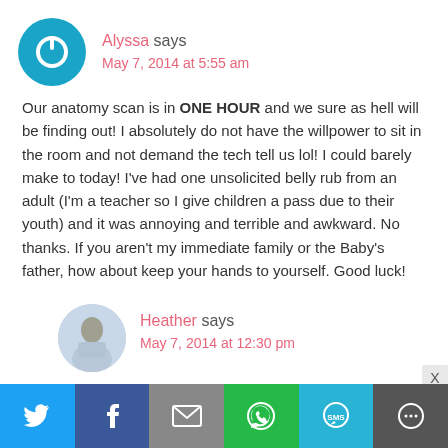[Figure (illustration): Blue circular avatar with white power button icon]
Alyssa says
May 7, 2014 at 5:55 am
Our anatomy scan is in ONE HOUR and we sure as hell will be finding out! I absolutely do not have the willpower to sit in the room and not demand the tech tell us lol! I could barely make to today! I've had one unsolicited belly rub from an adult (I'm a teacher so I give children a pass due to their youth) and it was annoying and terrible and awkward. No thanks. If you aren't my immediate family or the Baby's father, how about keep your hands to yourself. Good luck!
[Figure (photo): Circular photo avatar of a woman named Heather]
Heather says
May 7, 2014 at 12:30 pm